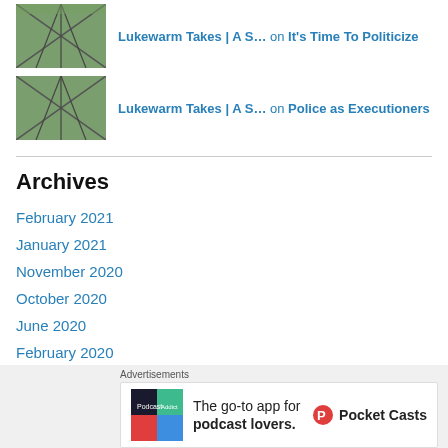Lukewarm Takes | A S… on It's Time To Politicize
Lukewarm Takes | A S… on Police as Executioners
Archives
February 2021
January 2021
November 2020
October 2020
June 2020
February 2020
Advertisements
The go-to app for podcast lovers. Pocket Casts